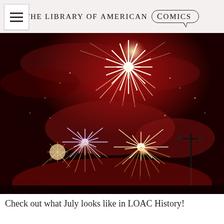THE LIBRARY OF AMERICAN COMICS
[Figure (photo): Fireworks display against a red-lit night sky, with large white starburst explosion at top and multiple gold/purple fireworks bursts lower, with a utility pole visible on the right side.]
Check out what July looks like in LOAC History!